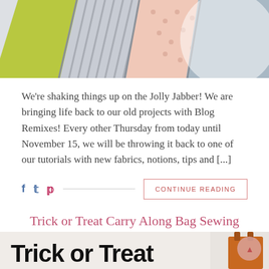[Figure (photo): Top portion of a quilted/sewn fabric project showing colorful fabric patches in yellow-green, striped gray, pink dotted, and gray-blue tones arranged in a fan or book pattern on a white surface]
We're shaking things up on the Jolly Jabber! We are bringing life back to our old projects with Blog Remixes! Every other Thursday from today until November 15, we will be throwing it back to one of our tutorials with new fabrics, notions, tips and [...]
CONTINUE READING
Trick or Treat Carry Along Bag Sewing Tutorial
SEPTEMBER 11, 2018
[Figure (photo): Bottom portion showing a 'Trick or Treat' bag sewing tutorial image with bold black text 'Trick or Treat' on a light background with an orange bag visible on the right side]